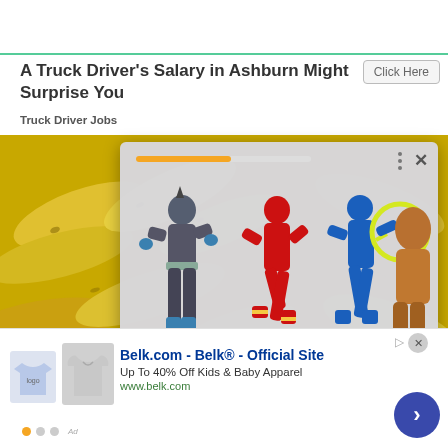A Truck Driver's Salary in Ashburn Might Surprise You
Truck Driver Jobs
[Figure (photo): Yellow bananas piled together, background image behind overlaid content]
[Figure (photo): Popup overlay showing superhero action figures (Batman-like grey figure, The Flash red figure, blue superhero with yellow lasso, and an orange/brown figure partially visible) on grey background with orange progress bar and X close button]
[Figure (other): Bottom advertisement banner for Belk.com showing clothing items (t-shirt and hoodie), text 'Belk.com - Belk® - Official Site', 'Up To 40% Off Kids & Baby Apparel', 'www.belk.com', with blue arrow navigation button and X close button]